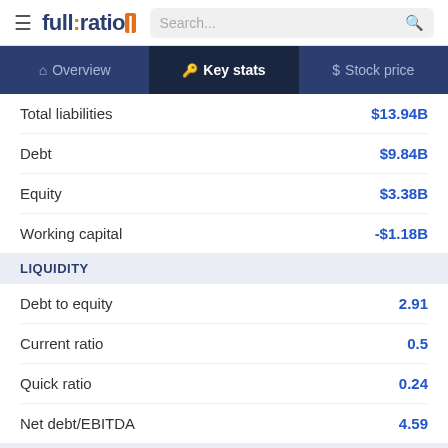full:ratio | Search...
Overview | Key stats | Stock price
|  |  |
| --- | --- |
| Total liabilities | $13.94B |
| Debt | $9.84B |
| Equity | $3.38B |
| Working capital | -$1.18B |
LIQUIDITY
|  |  |
| --- | --- |
| Debt to equity | 2.91 |
| Current ratio | 0.5 |
| Quick ratio | 0.24 |
| Net debt/EBITDA | 4.59 |
MARGINS